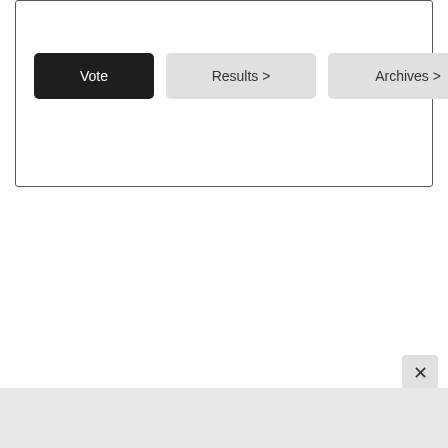Online and print
[Figure (screenshot): A UI widget with a dark 'Vote' button, a light 'Results >' button, and a light 'Archives >' button, inside a bordered box. Below is a close (×) button and a grey footer bar.]